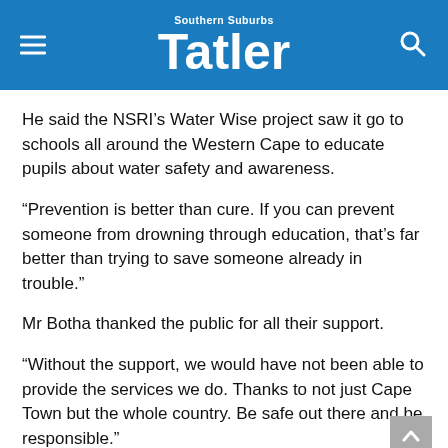Southern Suburbs Tatler
He said the NSRI’s Water Wise project saw it go to schools all around the Western Cape to educate pupils about water safety and awareness.
“Prevention is better than cure. If you can prevent someone from drowning through education, that’s far better than trying to save someone already in trouble.”
Mr Botha thanked the public for all their support.
“Without the support, we would have not been able to provide the services we do. Thanks to not just Cape Town but the whole country. Be safe out there and be responsible.”